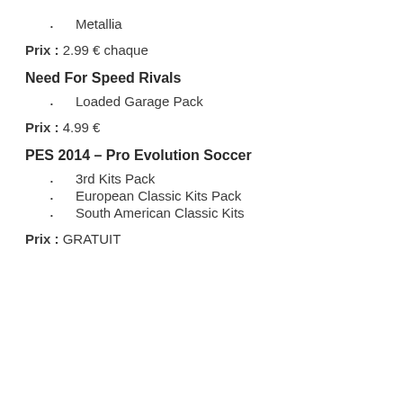Metallia
Prix : 2.99 € chaque
Need For Speed Rivals
Loaded Garage Pack
Prix : 4.99 €
PES 2014 – Pro Evolution Soccer
3rd Kits Pack
European Classic Kits Pack
South American Classic Kits
Prix : GRATUIT